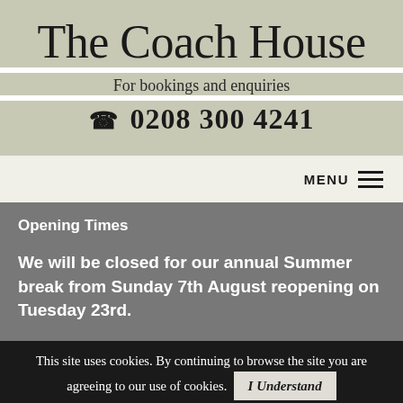The Coach House
For bookings and enquiries
☎ 0208 300 4241
MENU ≡
Opening Times
We will be closed for our annual Summer break from Sunday 7th August reopening on Tuesday 23rd.
This site uses cookies. By continuing to browse the site you are agreeing to our use of cookies. I Understand